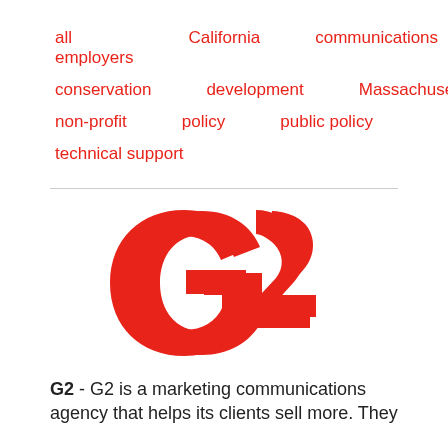all employers    California    communications
conservation    development    Massachusetts
non-profit    policy    public policy
technical support
[Figure (logo): G2 logo — large red stylized G2 mark with bold sans-serif design, red color #e8231a]
G2 - G2 is a marketing communications agency that helps its clients sell more. They